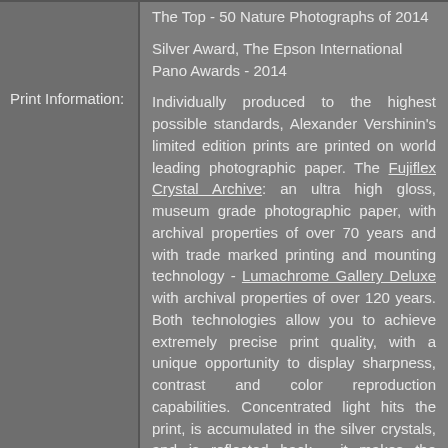The Top - 50 Nature Photographs of 2014
Silver Award, The Epson International Pano Awards - 2014
Print Information:
Individually produced to the highest possible standards, Alexander Vershinin's limited edition prints are printed on world leading photographic paper. The Fujiflex Crystal Archive: an ultra high gloss, museum grade photographic paper, with archival properties of over 70 years and with trade marked printing and mounting technology - Lumachrome Gallery Deluxe with archival properties of over 120 years. Both technologies allow you to achieve extremely precise print quality, with a unique opportunity to display sharpness, contrast and color reproduction capabilities. Concentrated light hits the print, is accumulated in the silver crystals, and is reflected back - it makes the impression that a photograph is in 3D format and shines